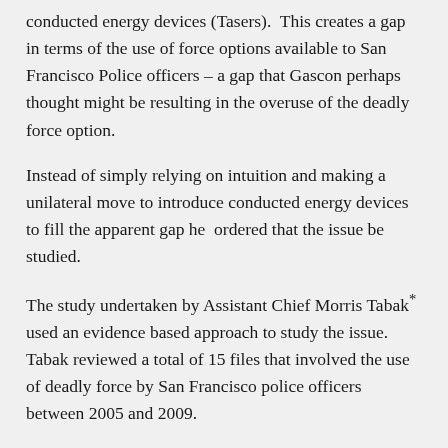conducted energy devices (Tasers).  This creates a gap in terms of the use of force options available to San Francisco Police officers – a gap that Gascon perhaps thought might be resulting in the overuse of the deadly force option.
Instead of simply relying on intuition and making a unilateral move to introduce conducted energy devices to fill the apparent gap he  ordered that the issue be studied.
The study undertaken by Assistant Chief Morris Tabak* used an evidence based approach to study the issue.  Tabak reviewed a total of 15 files that involved the use of deadly force by San Francisco police officers between 2005 and 2009.
File data revealed that  police actions resulted in the death of the suspect in 8 of the 15...